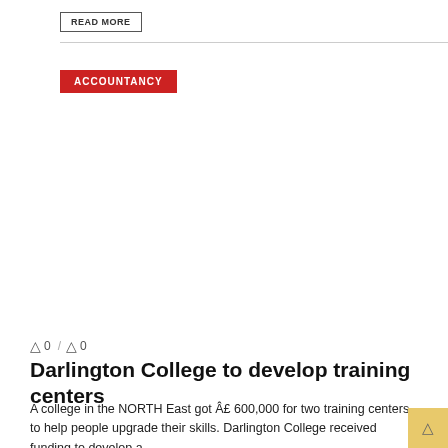READ MORE
ACCOUNTANCY
0 / 0
Darlington College to develop training centers
A college in the NORTH East got £ 600,000 for two training centers to help people upgrade their skills. Darlington College received funding to develop a ...